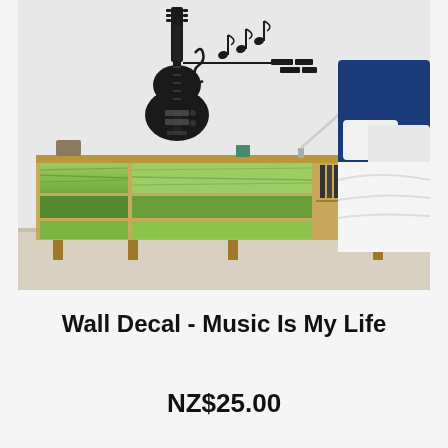[Figure (photo): Bedroom scene with a guitar wall decal on a white wall above a green wooden dresser, with a bed visible on the right side and a floor lamp in the center background.]
Wall Decal - Music Is My Life
NZ$25.00